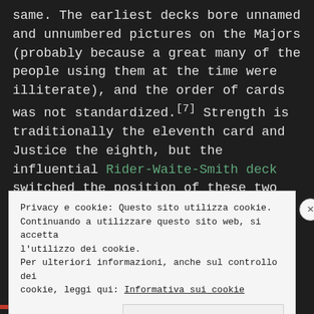same. The earliest decks bore unnamed and unnumbered pictures on the Majors (probably because a great many of the people using them at the time were illiterate), and the order of cards was not standardized.[7] Strength is traditionally the eleventh card and Justice the eighth, but the influential Rider-Waite-Smith deck switched the position of these two cards in order to make them a better fit with the astrological
Privacy e cookie: Questo sito utilizza cookie.
Continuando a utilizzare questo sito web, si accetta
l'utilizzo dei cookie.
Per ulteriori informazioni, anche sul controllo dei
cookie, leggi qui: Informativa sui cookie

Chiudi e accetta